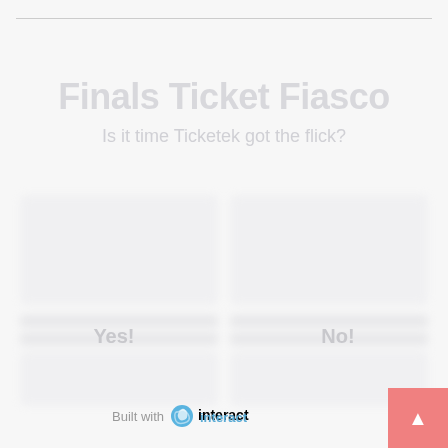Finals Ticket Fiasco
Is it time Ticketek got the flick?
[Figure (other): Blurred quiz/poll content area with two options cards and text lines, faded out]
Yes!
No!
Built with interact